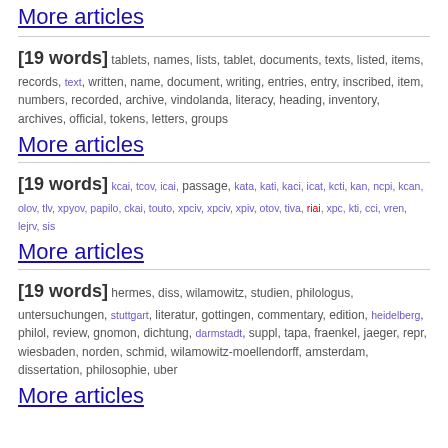More articles
[19 words] tablets, names, lists, tablet, documents, texts, listed, items, records, text, written, name, document, writing, entries, entry, inscribed, item, numbers, recorded, archive, vindolanda, literacy, heading, inventory, archives, official, tokens, letters, groups
More articles
[19 words] kcai, tcov, icai, passage, kata, kati, kaci, icat, kcti, kan, ncpi, kcan, olov, tlv, xpyov, papilo, ckai, touto, xpciv, xpciv, xpiv, otov, tiva, riai, xpc, kti, cci, vren, lejrv, sis
More articles
[19 words] hermes, diss, wilamowitz, studien, philologus, untersuchungen, stuttgart, literatur, gottingen, commentary, edition, heidelberg, philol, review, gnomon, dichtung, darmstadt, suppl, tapa, fraenkel, jaeger, repr, wiesbaden, norden, schmid, wilamowitz-moellendorff, amsterdam, dissertation, philosophie, uber
More articles